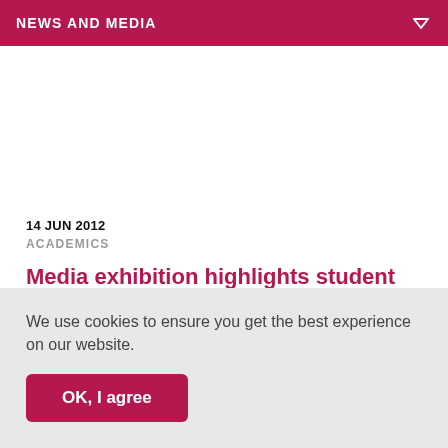NEWS AND MEDIA
14 JUN 2012
ACADEMICS
Media exhibition highlights student creativity
Some 50 student works demonstrating a high level of
We use cookies to ensure you get the best experience on our website.
OK, I agree